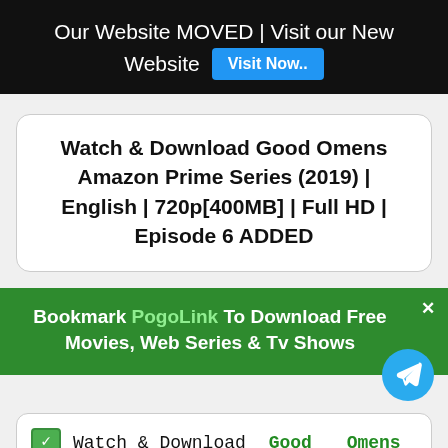Our Website MOVED | Visit our New Website  Visit Now..
Watch & Download Good Omens Amazon Prime Series (2019) | English | 720p[400MB] | Full HD | Episode 6 ADDED
Bookmark PogoLink To Download Free Movies, Web Series & Tv Shows
✅ Watch & Download Good Omens